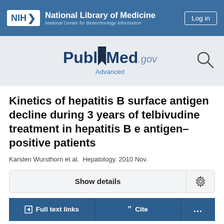[Figure (logo): NIH National Library of Medicine / National Center for Biotechnology Information header logo with Log in button]
[Figure (logo): PubMed.gov logo with Advanced search link and search icon]
Kinetics of hepatitis B surface antigen decline during 3 years of telbivudine treatment in hepatitis B e antigen-positive patients
Karsten Wursthorn et al. Hepatology. 2010 Nov.
Show details
Full text links
Cite
...